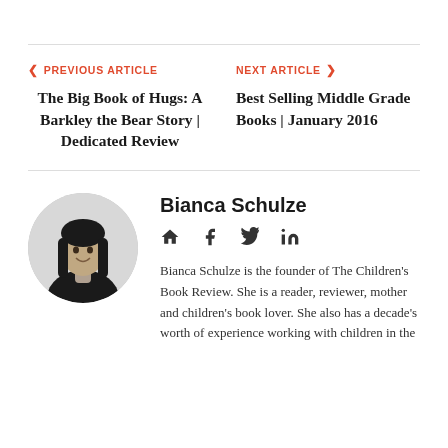PREVIOUS ARTICLE — The Big Book of Hugs: A Barkley the Bear Story | Dedicated Review
NEXT ARTICLE — Best Selling Middle Grade Books | January 2016
Bianca Schulze
Bianca Schulze is the founder of The Children's Book Review. She is a reader, reviewer, mother and children's book lover. She also has a decade's worth of experience working with children in the